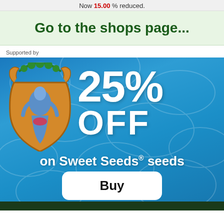Now 15.00 % reduced.
Go to the shops page...
Supported by
[Figure (infographic): Advertisement banner with blue water/honeycomb texture background, a heraldic crest on the left, large white text '25% OFF' on the right, tagline 'on Sweet Seeds® seeds', and a white 'Buy' button below.]
[Figure (photo): Dark green strip at the bottom of the page, partially visible.]